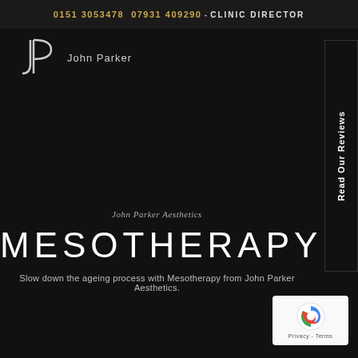0151 3053478  07931 409290 - CLINIC DIRECTOR
[Figure (logo): JP John Parker Aesthetics logo in white/grey on dark background]
Read Our Reviews
John Parker Aesthetics
MESOTHERAPY
Slow down the ageing process with Mesotherapy from John Parker Aesthetics.
[Figure (other): Google reCAPTCHA badge with Privacy - Terms link]